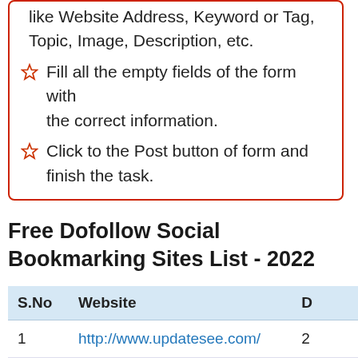like Website Address, Keyword or Tag, Topic, Image, Description, etc.
Fill all the empty fields of the form with the correct information.
Click to the Post button of form and finish the task.
Free Dofollow Social Bookmarking Sites List - 2022
| S.No | Website | D |
| --- | --- | --- |
| 1 | http://www.updatesee.com/ | 2 |
| 2 | http://... |  |